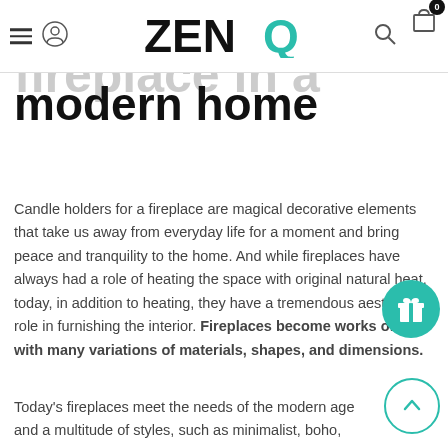ZENQ — navigation header with hamburger, logo, search, cart
The role of the fireplace in a modern home
Candle holders for a fireplace are magical decorative elements that take us away from everyday life for a moment and bring peace and tranquility to the home. And while fireplaces have always had a role of heating the space with original natural heat, today, in addition to heating, they have a tremendous aesthetic role in furnishing the interior. Fireplaces become works of art with many variations of materials, shapes, and dimensions.
Today's fireplaces meet the needs of the modern age and a multitude of styles, such as minimalist, boho, Scandinavian,